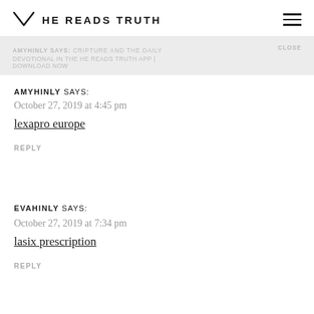HE READS TRUTH
AMYHINLY SAYS: October 27, 2019 at 4:45 pm
lexapro europe
REPLY
EVAHINLY SAYS: October 27, 2019 at 7:34 pm
lasix prescription
REPLY